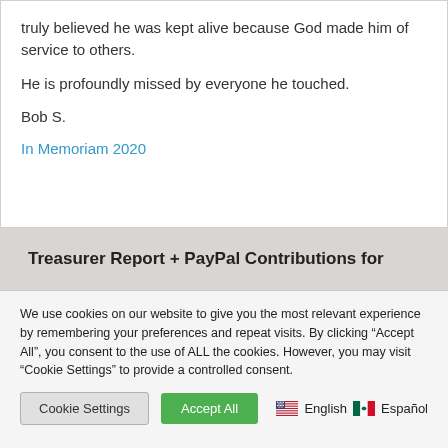truly believed he was kept alive because God made him of service to others.
He is profoundly missed by everyone he touched.
Bob S.
In Memoriam 2020
Treasurer Report + PayPal Contributions for
We use cookies on our website to give you the most relevant experience by remembering your preferences and repeat visits. By clicking “Accept All”, you consent to the use of ALL the cookies. However, you may visit "Cookie Settings" to provide a controlled consent.